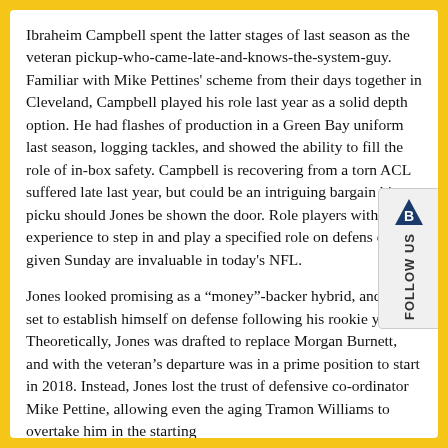Ibraheim Campbell spent the latter stages of last season as the veteran pickup-who-came-late-and-knows-the-system-guy. Familiar with Mike Pettines' scheme from their days together in Cleveland, Campbell played his role last year as a solid depth option. He had flashes of production in a Green Bay uniform last season, logging tackles, and showed the ability to fill the role of in-box safety. Campbell is recovering from a torn ACL suffered late last year, but could be an intriguing bargain bin pickup should Jones be shown the door. Role players with the experience to step in and play a specified role on defense on any given Sunday are invaluable in today's NFL.
Jones looked promising as a “money”-backer hybrid, and was set to establish himself on defense following his rookie year. Theoretically, Jones was drafted to replace Morgan Burnett, and with the veteran’s departure was in a prime position to start in 2018. Instead, Jones lost the trust of defensive co-ordinator Mike Pettine, allowing even the aging Tramon Williams to overtake him in the starting